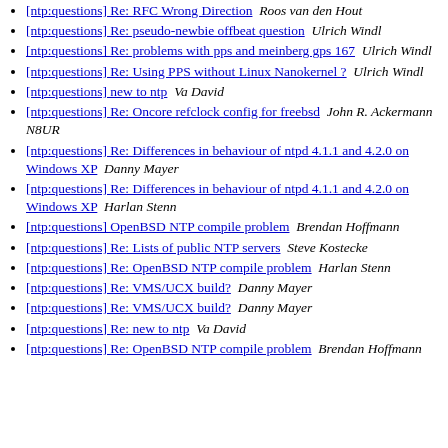[ntp:questions] Re: RFC Wrong Direction  Roos van den Hout
[ntp:questions] Re: pseudo-newbie offbeat question   Ulrich Windl
[ntp:questions] Re: problems with pps and meinberg gps 167  Ulrich Windl
[ntp:questions] Re: Using PPS without Linux Nanokernel ?  Ulrich Windl
[ntp:questions] new to ntp   Va David
[ntp:questions] Re: Oncore refclock config for freebsd  John R. Ackermann N8UR
[ntp:questions] Re: Differences in behaviour of ntpd 4.1.1 and 4.2.0 on Windows XP  Danny Mayer
[ntp:questions] Re: Differences in behaviour of ntpd 4.1.1 and 4.2.0 on Windows XP  Harlan Stenn
[ntp:questions] OpenBSD NTP compile problem  Brendan Hoffmann
[ntp:questions] Re: Lists of public NTP servers  Steve Kostecke
[ntp:questions] Re: OpenBSD NTP compile problem  Harlan Stenn
[ntp:questions] Re: VMS/UCX build?  Danny Mayer
[ntp:questions] Re: VMS/UCX build?  Danny Mayer
[ntp:questions] Re: new to ntp  Va David
[ntp:questions] Re: OpenBSD NTP compile problem  Brendan Hoffmann